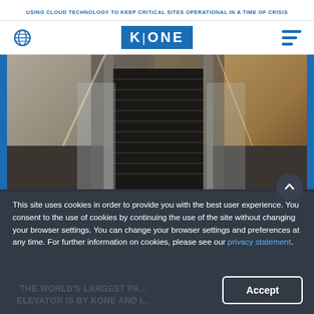USING CLOUD TECHNOLOGY TO KEEP CRITICAL SITES OPERATIONAL IN A TIME OF CRISIS
[Figure (logo): KONE company logo — white letters on blue background with globe icon and hamburger menu]
[Figure (photo): Indoor escalator photograph taken from below looking up, showing escalator steps, glass railings, and ceiling]
This site uses cookies in order to provide you with the best user experience. You consent to the use of cookies by continuing the use of the site without changing your browser settings. You can change your browser settings and preferences at any time. For further information on cookies, please see our privacy statement.
THE WORLD'S LARGEST PASSENGER ELEVATOR IS BY KONE AND IS IN...
Accept